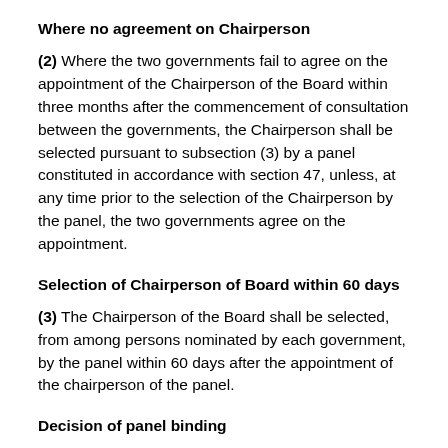Where no agreement on Chairperson
(2) Where the two governments fail to agree on the appointment of the Chairperson of the Board within three months after the commencement of consultation between the governments, the Chairperson shall be selected pursuant to subsection (3) by a panel constituted in accordance with section 47, unless, at any time prior to the selection of the Chairperson by the panel, the two governments agree on the appointment.
Selection of Chairperson of Board within 60 days
(3) The Chairperson of the Board shall be selected, from among persons nominated by each government, by the panel within 60 days after the appointment of the chairperson of the panel.
Decision of panel binding
(4) The decision of the panel selecting a Chairperson